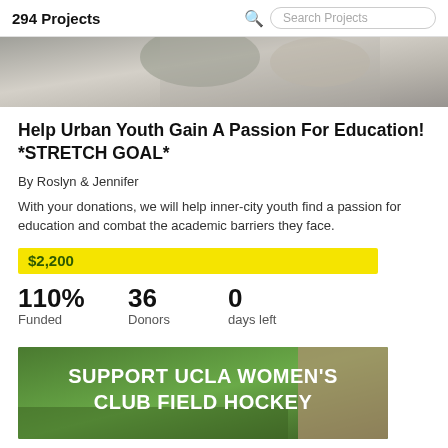294 Projects
[Figure (photo): Photo of students studying, partially visible at top of page]
Help Urban Youth Gain A Passion For Education! *STRETCH GOAL*
By Roslyn & Jennifer
With your donations, we will help inner-city youth find a passion for education and combat the academic barriers they face.
$2,200
110%
Funded
36
Donors
0
days left
[Figure (photo): Photo of UCLA Women's Club Field Hockey team outdoors with text overlay reading SUPPORT UCLA WOMEN'S CLUB FIELD HOCKEY]